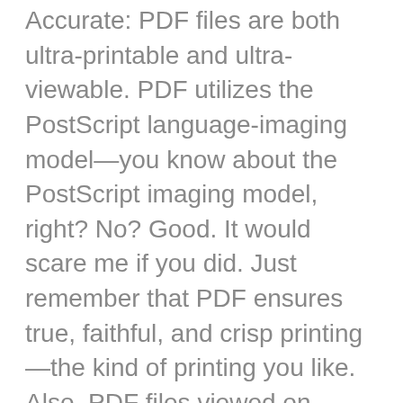Accurate: PDF files are both ultra-printable and ultra-viewable. PDF utilizes the PostScript language-imaging model—you know about the PostScript imaging model, right? No? Good. It would scare me if you did. Just remember that PDF ensures true, faithful, and crisp printing—the kind of printing you like. Also, PDF files viewed on-screen retain precise color regardless of software or hardware variation, and also retain precise clarity in magnifications upward of 500%.
Convenient: PDF files are both smaller in size than original source files (e.g. potentially 20% as large as HTML files) and easier to download and view. PDF documents also offer page-at-a-time downloading, allowing users to view the...